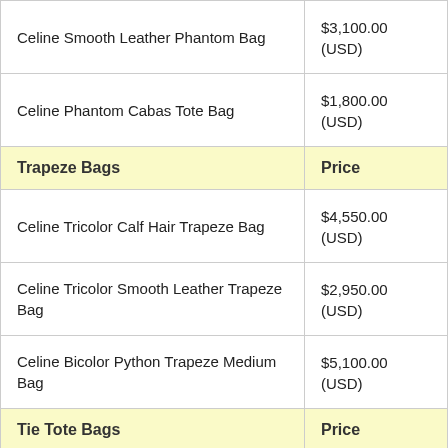|  |  |
| --- | --- |
| Celine Smooth Leather Phantom Bag | $3,100.00
(USD) |
| Celine Phantom Cabas Tote Bag | $1,800.00
(USD) |
| Trapeze Bags | Price |
| Celine Tricolor Calf Hair Trapeze Bag | $4,550.00
(USD) |
| Celine Tricolor Smooth Leather Trapeze Bag | $2,950.00
(USD) |
| Celine Bicolor Python Trapeze Medium Bag | $5,100.00
(USD) |
| Tie Tote Bags | Price |